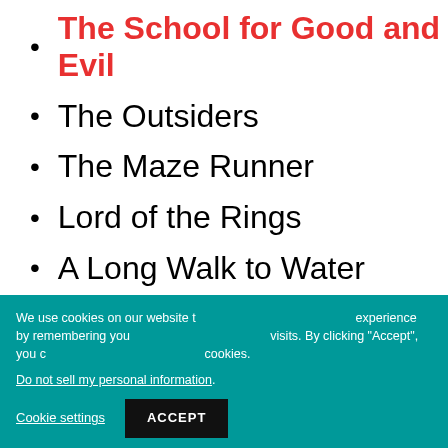The School for Good and Evil
The Outsiders
The Maze Runner
Lord of the Rings
A Long Walk to Water
[Figure (screenshot): Ad banner with pizza image and 'seam' text, overlapping with video thumbnail showing Mila Kunis, Kathryn Hahn & Kristen Bell with a play button and CLOSE button]
We use cookies on our website to give you the most relevant experience by remembering your preferences and repeat visits. By clicking "Accept", you consent to the use of ALL the cookies.
Do not sell my personal information.
Cookie settings  ACCEPT